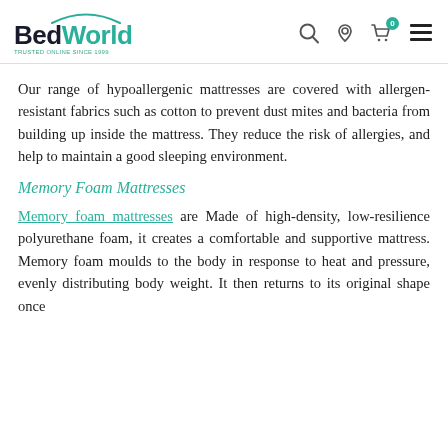BedWorld — Trusted Online Since 1999
Our range of hypoallergenic mattresses are covered with allergen-resistant fabrics such as cotton to prevent dust mites and bacteria from building up inside the mattress. They reduce the risk of allergies, and help to maintain a good sleeping environment.
Memory Foam Mattresses
Memory foam mattresses are Made of high-density, low-resilience polyurethane foam, it creates a comfortable and supportive mattress. Memory foam moulds to the body in response to heat and pressure, evenly distributing body weight. It then returns to its original shape once...